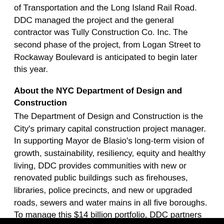of Transportation and the Long Island Rail Road. DDC managed the project and the general contractor was Tully Construction Co. Inc. The second phase of the project, from Logan Street to Rockaway Boulevard is anticipated to begin later this year.
About the NYC Department of Design and Construction
The Department of Design and Construction is the City's primary capital construction project manager. In supporting Mayor de Blasio's long-term vision of growth, sustainability, resiliency, equity and healthy living, DDC provides communities with new or renovated public buildings such as firehouses, libraries, police precincts, and new or upgraded roads, sewers and water mains in all five boroughs. To manage this $14 billion portfolio, DDC partners with other City agencies, architects and consultants, whose experience bring efficient, innovative and environmentally-conscious design and construction strategies to City projects. For more information, please visit nyc.gov/ddc.